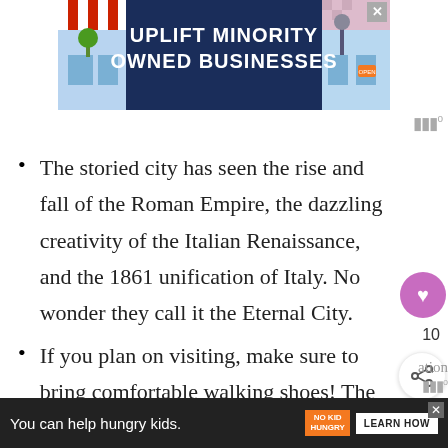[Figure (other): Advertisement banner: 'UPLIFT MINORITY OWNED BUSINESSES' on dark blue background with illustrated storefronts on sides]
The storied city has seen the rise and fall of the Roman Empire, the dazzling creativity of the Italian Renaissance, and the 1861 unification of Italy. No wonder they call it the Eternal City.
If you plan on visiting, make sure to bring comfortable walking shoes! The abundance of history also means les…
[Figure (other): Advertisement banner at bottom: 'You can help hungry kids.' with No Kid Hungry logo and Learn How button]